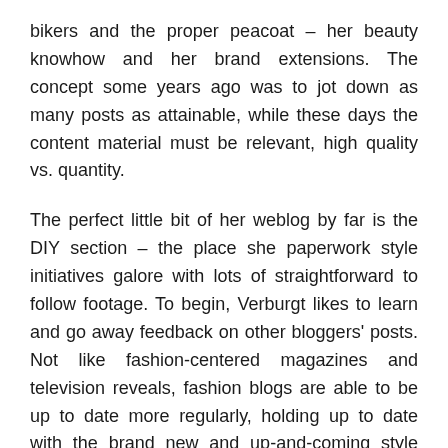bikers and the proper peacoat – her beauty knowhow and her brand extensions. The concept some years ago was to jot down as many posts as attainable, while these days the content material must be relevant, high quality vs. quantity.
The perfect little bit of her weblog by far is the DIY section – the place she paperwork style initiatives galore with lots of straightforward to follow footage. To begin, Verburgt likes to learn and go away feedback on other bloggers' posts. Not like fashion-centered magazines and television reveals, fashion blogs are able to be up to date more regularly, holding up to date with the brand new and up-and-coming style traits.
Bows & Sequins is a style-centered way of life weblog the